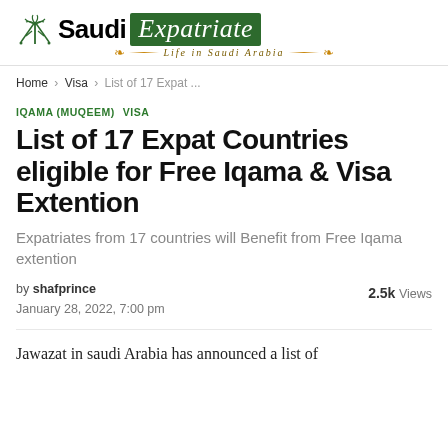[Figure (logo): Saudi Expatriate logo with palm tree and crossed swords icon, green rectangle behind 'Expatriate' text in italic, tagline 'Life in Saudi Arabia' in decorative script]
Home › Visa › List of 17 Expat ...
IQAMA (MUQEEM)  VISA
List of 17 Expat Countries eligible for Free Iqama & Visa Extention
Expatriates from 17 countries will Benefit from Free Iqama extention
by shafprince
January 28, 2022, 7:00 pm
2.5k Views
Jawazat in saudi Arabia has announced a list of